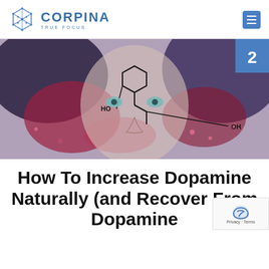CORPINA TRUE FOCUS
[Figure (illustration): Artistic illustration of a woman's face with dopamine chemical structure overlay in watercolor style, with 'HO' and 'OH' labels on the chemical structure. Blue badge with number 2 in top right corner.]
How To Increase Dopamine Naturally (and Recover From Dopamine Deficiency)